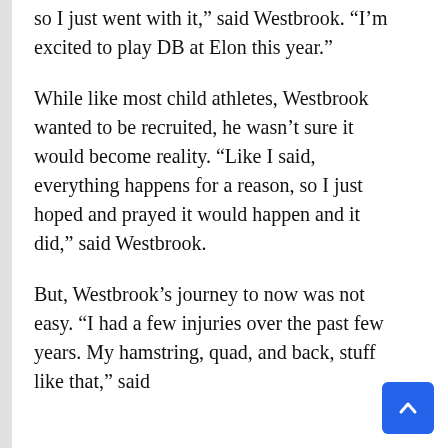so I just went with it,” said Westbrook. “I’m excited to play DB at Elon this year.”
While like most child athletes, Westbrook wanted to be recruited, he wasn’t sure it would become reality. “Like I said, everything happens for a reason, so I just hoped and prayed it would happen and it did,” said Westbrook.
But, Westbrook’s journey to now was not easy. “I had a few injuries over the past few years. My hamstring, quad, and back, stuff like that,” said